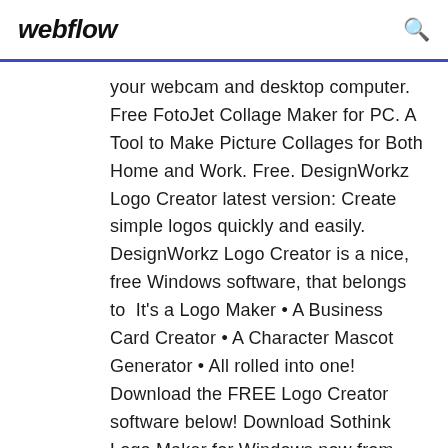webflow
your webcam and desktop computer. Free FotoJet Collage Maker for PC. A Tool to Make Picture Collages for Both Home and Work. Free. DesignWorkz Logo Creator latest version: Create simple logos quickly and easily. DesignWorkz Logo Creator is a nice, free Windows software, that belongs to  It's a Logo Maker • A Business Card Creator • A Character Mascot Generator • All rolled into one! Download the FREE Logo Creator software below! Download Sothink Logo Maker for Windows now from Softonic: 100% safe and Full paid version; In English The best free video editing software of 2019. 30 May 2019 logo creator software full version free download. We